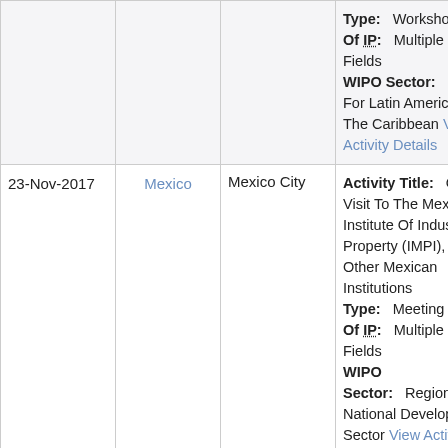| Date | Country | City | Activity Details |
| --- | --- | --- | --- |
|  |  |  | Type: Workshop Field Of IP: Multiple IP Fields WIPO Sector: Division For Latin America And The Caribbean View Activity Details |
| 23-Nov-2017 | Mexico | Mexico City | Activity Title: Official Visit To The Mexican Institute Of Industrial Property (IMPI), And Other Mexican Institutions Type: Meeting Field Of IP: Multiple IP Fields WIPO Sector: Regional And National Development Sector View Activity Details |
| 14-Nov-2017 | Mexico | Mexico City | Activity Title: IPSDM 2017 Conference Type: Mission Field Of IP: Industrial Property |